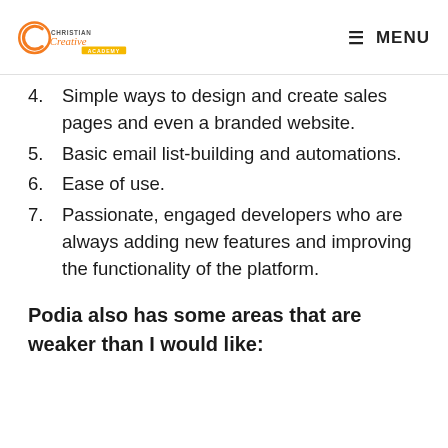Christian Creative Academy | MENU
4. Simple ways to design and create sales pages and even a branded website.
5. Basic email list-building and automations.
6. Ease of use.
7. Passionate, engaged developers who are always adding new features and improving the functionality of the platform.
Podia also has some areas that are weaker than I would like: